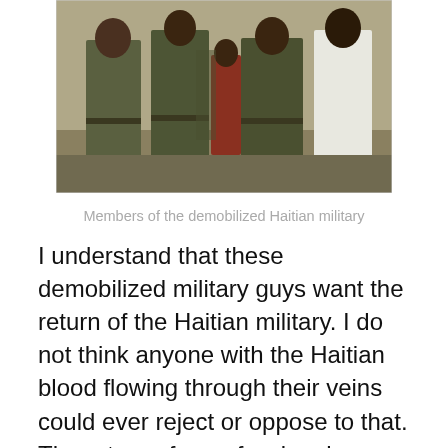[Figure (photo): Group photo of several men in olive green military-style uniforms standing together outdoors.]
Members of the demobilized Haitian military
I understand that these demobilized military guys want the return of the Haitian military. I do not think anyone with the Haitian blood flowing through their veins could ever reject or oppose to that. The return of a professional Haitian military is paramount to the country’s national security and prestige.
The argument is not whether the return of the Haitian military is feasible or not as it is recognized in the Constitution of the land; it is, rather, how should we proceed and what should be its mission and purpose